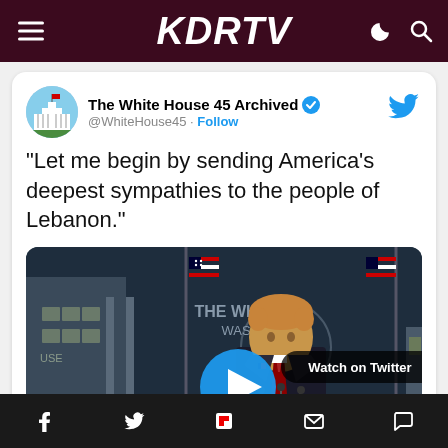KDRTV
The White House 45 Archived @WhiteHouse45 · Follow
"Let me begin by sending America's deepest sympathies to the people of Lebanon."
[Figure (screenshot): Video thumbnail showing a person at a White House podium with US flags, a play button overlay, and 'Watch on Twitter' label]
Social share bar with Facebook, Twitter, Flipboard, Email, and Comment icons